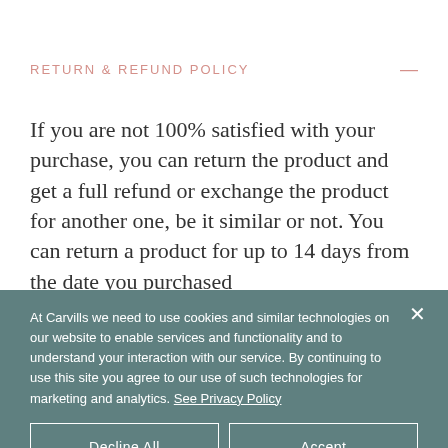RETURN & REFUND POLICY
If you are not 100% satisfied with your purchase, you can return the product and get a full refund or exchange the product for another one, be it similar or not. You can return a product for up to 14 days from the date you purchased
At Carvills we need to use cookies and similar technologies on our website to enable services and functionality and to understand your interaction with our service. By continuing to use this site you agree to our use of such technologies for marketing and analytics. See Privacy Policy
Decline All
Accept
Cookie Settings